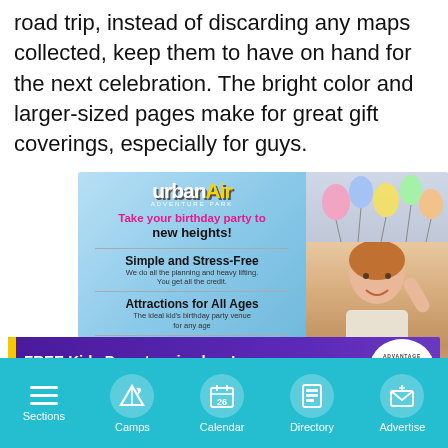road trip, instead of discarding any maps collected, keep them to have on hand for the next celebration. The bright color and larger-sized pages make for great gift coverings, especially for guys.
[Figure (illustration): Urban Air Adventure Park advertisement showing birthday party promotion with photo of smiling girl and text: Take your birthday party to new heights! Simple and Stress-Free. Attractions for All Ages. Parents Par... Also overlaid CLOSE button.]
[Figure (illustration): Banner ad: FREE Kids Days tennis class! Big fun for little ones! 3 NYC spots! ENROLL NOW! Advantage QuickStart Tennis logo in white circle.]
[Figure (infographic): Bottom navigation bar with teal background showing: Sections (hamburger icon), Camps (tent icon), Calendar (calendar icon with 26), Directory (book/directory icon), Advertise (envelope/gift icon)]